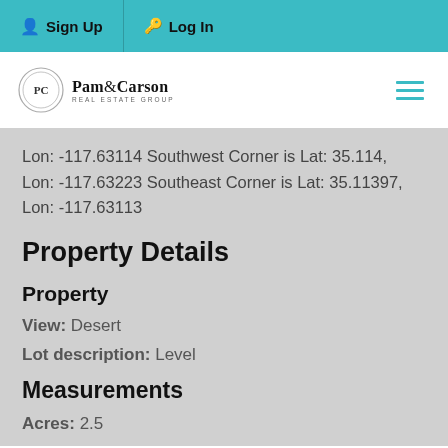Sign Up  Log In
[Figure (logo): Pam & Carson Real Estate Group logo with circular emblem]
Lon: -117.63114 Southwest Corner is Lat: 35.114, Lon: -117.63223 Southeast Corner is Lat: 35.11397, Lon: -117.63113
Property Details
Property
View:  Desert
Lot description:  Level
Measurements
Acres:  2.5